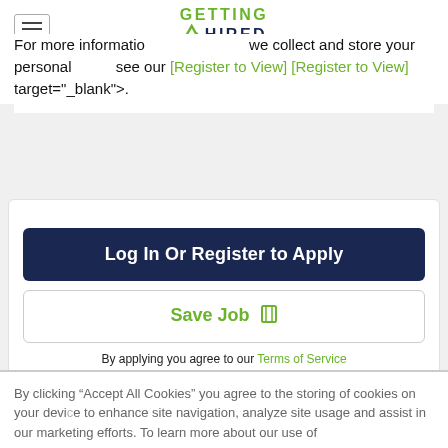Getting Hired - An Allegis Group Company
For more information on what we collect and store your personal data, see our [Register to View] [Register to View] target="_blank">.
Log In Or Register to Apply
Save Job
By applying you agree to our Terms of Service
Share
By clicking "Accept All Cookies" you agree to the storing of cookies on your device to enhance site navigation, analyze site usage and assist in our marketing efforts. To learn more about our use of